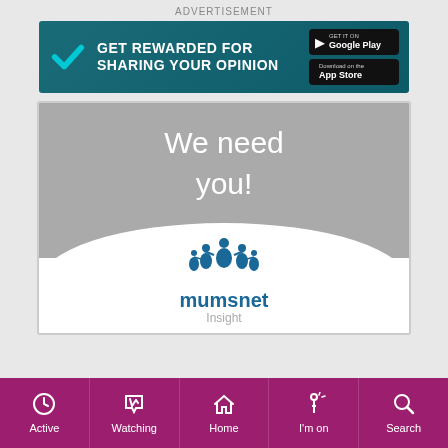ADVERTISEMENT
[Figure (infographic): Banner advertisement: GET REWARDED FOR SHARING YOUR OPINION with Google Play and App Store badges, teal background with checkmark logo]
[Figure (infographic): Mumsnet Insight advertisement panel showing 'We need you!' text on grey background with Mumsnet Insight logo below on white arc]
Active | Watching | Home | I'm on | Search